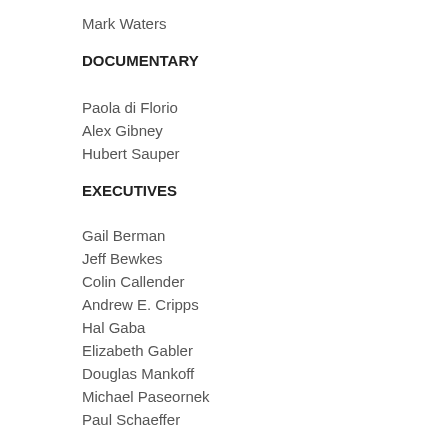Mark Waters
DOCUMENTARY
Paola di Florio
Alex Gibney
Hubert Sauper
EXECUTIVES
Gail Berman
Jeff Bewkes
Colin Callender
Andrew E. Cripps
Hal Gaba
Elizabeth Gabler
Douglas Mankoff
Michael Paseornek
Paul Schaeffer
Jonathan Sehring
Michael J. Werner